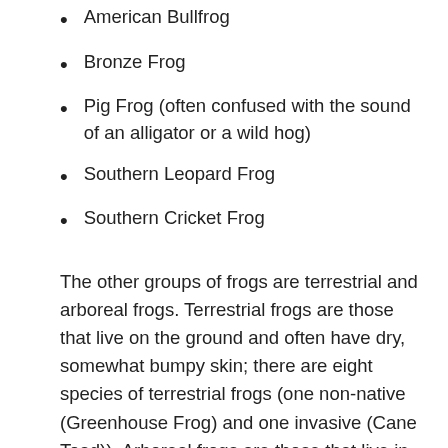American Bullfrog
Bronze Frog
Pig Frog (often confused with the sound of an alligator or a wild hog)
Southern Leopard Frog
Southern Cricket Frog
The other groups of frogs are terrestrial and arboreal frogs. Terrestrial frogs are those that live on the ground and often have dry, somewhat bumpy skin; there are eight species of terrestrial frogs (one non-native (Greenhouse Frog) and one invasive (Cane Toad)). Arboreal frogs are those that live in trees and are very good climbers; there are five species of arboreal frogs, only one of which is invasive (Cuban Treefrog).